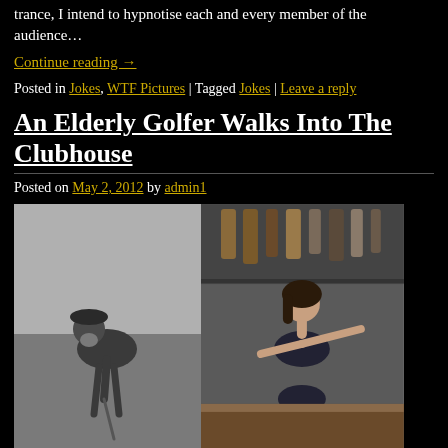trance, I intend to hypnotise each and every member of the audience…
Continue reading →
Posted in Jokes, WTF Pictures | Tagged Jokes | Leave a reply
An Elderly Golfer Walks Into The Clubhouse
Posted on May 2, 2012 by admin1
[Figure (photo): Two-panel image: left side shows a black-and-white photo of an elderly man with a beard hunched over a golf club on a course; right side shows a color photo of a young woman in lingerie at a bar counter.]